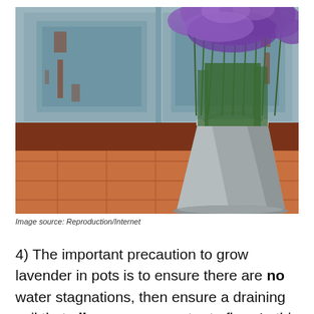[Figure (photo): A metal galvanized bucket filled with blooming purple lavender stems and green foliage, placed on terracotta tile floor against a weathered light blue painted wooden door/cabinet with peeling paint.]
Image source: Reproduction/Internet
4) The important precaution to grow lavender in pots is to ensure there are no water stagnations, then ensure a draining soil that allows excess water to flow. In this sense